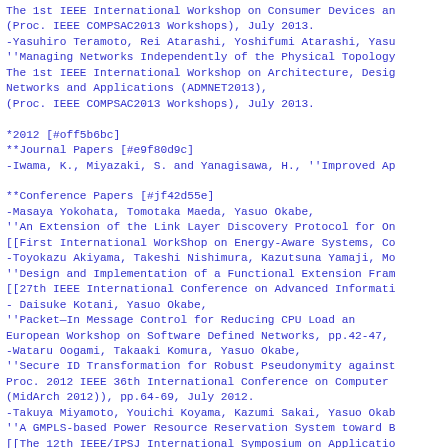The 1st IEEE International Workshop on Consumer Devices and (Proc. IEEE COMPSAC2013 Workshops), July 2013.
-Yasuhiro Teramoto, Rei Atarashi, Yoshifumi Atarashi, Yasu ''Managing Networks Independently of the Physical Topology The 1st IEEE International Workshop on Architecture, Desig Networks and Applications (ADMNET2013), (Proc. IEEE COMPSAC2013 Workshops), July 2013.
*2012 [#off5b6bc]
**Journal Papers [#e9f80d9c]
-Iwama, K., Miyazaki, S. and Yanagisawa, H., ''Improved Ap
**Conference Papers [#jf42d55e]
-Masaya Yokohata, Tomotaka Maeda, Yasuo Okabe, ''An Extension of the Link Layer Discovery Protocol for On [[First International WorkShop on Energy-Aware Systems, Co
-Toyokazu Akiyama, Takeshi Nishimura, Kazutsuna Yamaji, Mo ''Design and Implementation of a Functional Extension Fram [[27th IEEE International Conference on Advanced Informati
- Daisuke Kotani, Yasuo Okabe, ''Packet&#8210;In Message Control for Reducing CPU Load an European Workshop on Software Defined Networks, pp.42-47,
-Wataru Oogami, Takaaki Komura, Yasuo Okabe, ''Secure ID Transformation for Robust Pseudonymity against Proc. 2012 IEEE 36th International Conference on Computer (MidArch 2012)), pp.64-69, July 2012.
-Takuya Miyamoto, Youichi Koyama, Kazumi Sakai, Yasuo Okab ''A GMPLS-based Power Resource Reservation System toward B [[The 12th IEEE/IPSJ International Symposium on Applicatio
-Akihiro Takahashi, Tomotaka Maeda, Yasuo Okabe,